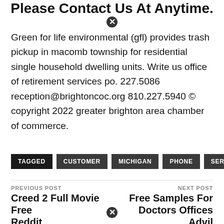Please Contact Us At Anytime.
Green for life environmental (gfl) provides trash pickup in macomb township for residential single household dwelling units. Write us office of retirement services po. 227.5086 reception@brightoncoc.org 810.227.5940 © copyright 2022 greater brighton area chamber of commerce.
TAGGED  CUSTOMER  MICHIGAN  PHONE  SERVICE
PREVIOUS POST
Creed 2 Full Movie Free Reddit
NEXT POST
Free Samples For Doctors Offices Advil